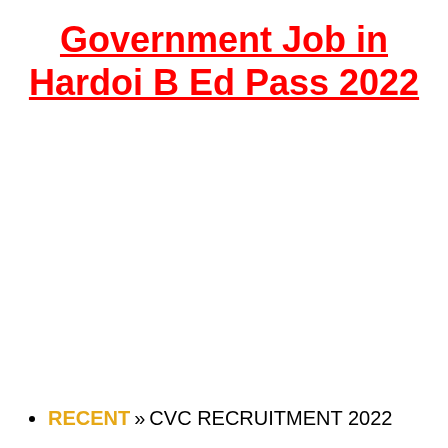Government Job in Hardoi B Ed Pass 2022
RECENT » CVC RECRUITMENT 2022